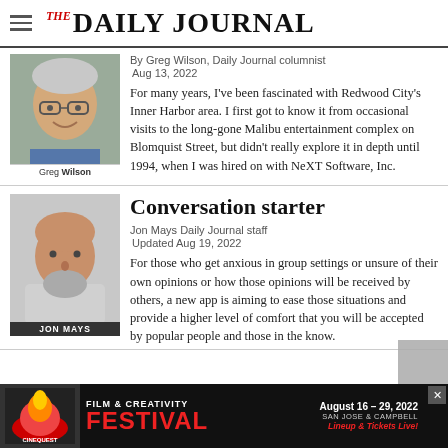The Daily Journal
[Figure (photo): Headshot of Greg Wilson, smiling middle-aged man with glasses]
By Greg Wilson, Daily Journal columnist
Aug 13, 2022
For many years, I've been fascinated with Redwood City's Inner Harbor area. I first got to know it from occasional visits to the long-gone Malibu entertainment complex on Blomquist Street, but didn't really explore it in depth until 1994, when I was hired on with NeXT Software, Inc.
Conversation starter
[Figure (photo): Headshot of Jon Mays, bald man with gray beard]
Jon Mays Daily Journal staff
Updated Aug 19, 2022
For those who get anxious in group settings or unsure of their own opinions or how those opinions will be received by others, a new app is aiming to ease those situations and provide a higher level of comfort that you will be accepted by popular people and those in the know.
[Figure (infographic): Advertisement for Cinequest Film & Creativity Festival, August 16-29, 2022, San Jose & Campbell. Lineup & Tickets Live!]